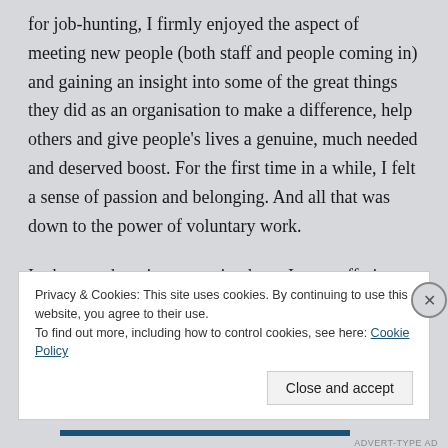for job-hunting, I firmly enjoyed the aspect of meeting new people (both staff and people coming in) and gaining an insight into some of the great things they did as an organisation to make a difference, help others and give people's lives a genuine, much needed and deserved boost. For the first time in a while, I felt a sense of passion and belonging. And all that was down to the power of voluntary work.
In the months prior to starting here, I was suffering from
Privacy & Cookies: This site uses cookies. By continuing to use this website, you agree to their use. To find out more, including how to control cookies, see here: Cookie Policy
Close and accept